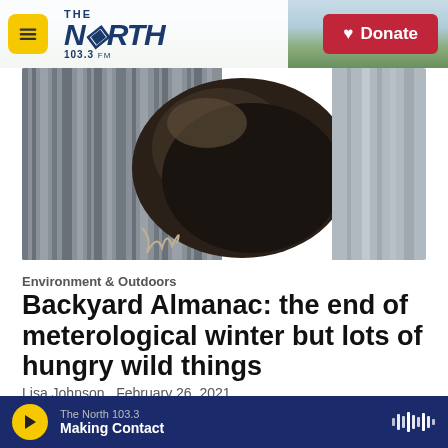THE NORTH 103.3 | Donate
[Figure (photo): Close-up photo of a porcupine or similar animal with dark fur and claws near a wooden surface]
Environment & Outdoors
Backyard Almanac: the end of meterological winter but lots of hungry wild things
Lisa Johnson,  February 26, 2021
All around us are signs of spring -
The North 103.3 | Making Contact